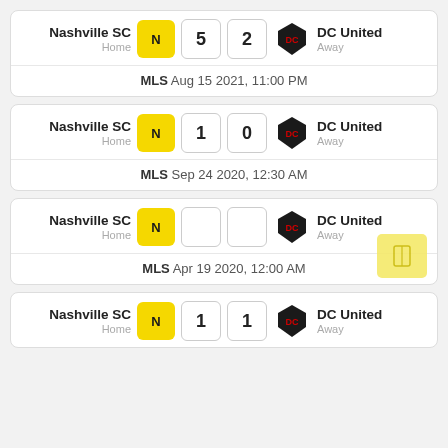| Home Team | Home Score | Away Score | Away Team |
| --- | --- | --- | --- |
| Nashville SC | 5 | 2 | DC United |
| Nashville SC | 1 | 0 | DC United |
| Nashville SC |  |  | DC United |
| Nashville SC | 1 | 1 | DC United |
MLS   Aug 15 2021, 11:00 PM
MLS   Sep 24 2020, 12:30 AM
MLS   Apr 19 2020, 12:00 AM